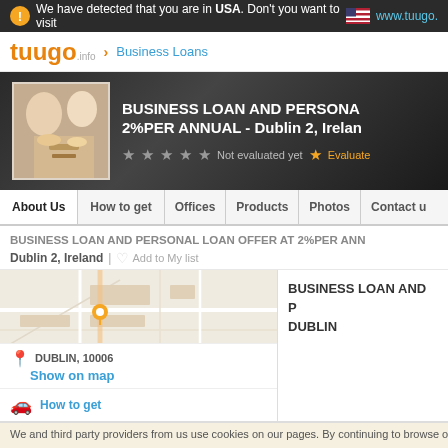We have detected that you are in USA. Don't you want to visit www.tuugo.
[Figure (logo): tuugo.info logo with orange text and breadcrumb to Business Loans]
[Figure (photo): Hero banner with business loan listing: BUSINESS LOAN AND PERSONAL LOAN OFFER AT 2%PER ANNUAL - Dublin 2, Ireland. Thumbnail image of people exchanging money. Star rating: Not evaluated yet. Evaluate button.]
About Us | How to get | Offices | Products | Photos | Contact
BUSINESS LOAN AND PERSONAL LOAN OFFER AT 2%PER ANNUAL - Dublin 2, Ireland
Dublin 2, Ireland | Add to My list
[Figure (map): Map showing Dublin area with location pin for DUBLIN, 10006]
DUBLIN, 10006
Show on map
How to get
BUSINESS LOAN AND P... DUBLIN
We and third party providers from us use cookies on our pages. By continuing to browse our